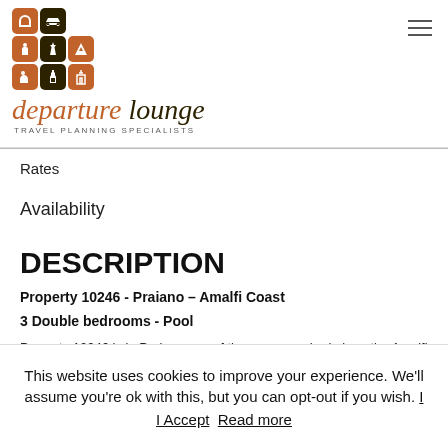[Figure (logo): Departure Lounge travel planning specialists logo with brown and dark icon grid and italic brand name]
Rates
Availability
DESCRIPTION
Property 10246 - Praiano – Amalfi Coast
3 Double bedrooms - Pool
Property 10246 is in Praiano one of the gems perched along the Amalfi
This website uses cookies to improve your experience. We'll assume you're ok with this, but you can opt-out if you wish. I Accept Read more